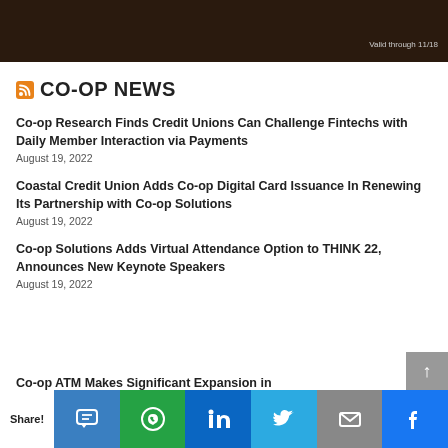[Figure (other): Dark banner at top of page with 'Valid through 11/18' text in corner]
CO-OP NEWS
Co-op Research Finds Credit Unions Can Challenge Fintechs with Daily Member Interaction via Payments
August 19, 2022
Coastal Credit Union Adds Co-op Digital Card Issuance In Renewing Its Partnership with Co-op Solutions
August 19, 2022
Co-op Solutions Adds Virtual Attendance Option to THINK 22, Announces New Keynote Speakers
August 19, 2022
Co-op ATM Makes Significant Expansion in
Share!